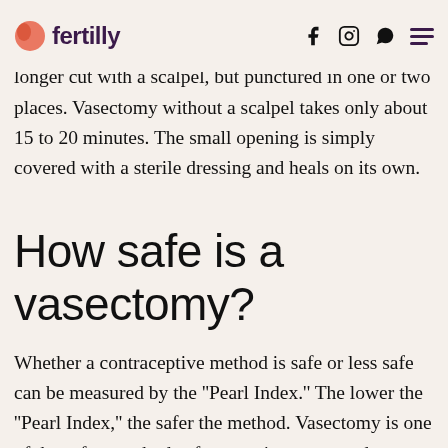fertilly [social media icons and hamburger menu]
scalpel vasectomy offer an even gentler form of male sterilization: here, the skin on the scrotum is no longer cut with a scalpel, but punctured in one or two places. Vasectomy without a scalpel takes only about 15 to 20 minutes. The small opening is simply covered with a sterile dressing and heals on its own.
How safe is a vasectomy?
Whether a contraceptive method is safe or less safe can be measured by the ''Pearl Index.'' The lower the ''Pearl Index,'' the safer the method. Vasectomy is one of the safest methods of preventing unwanted pregnancy; according to ProFa-